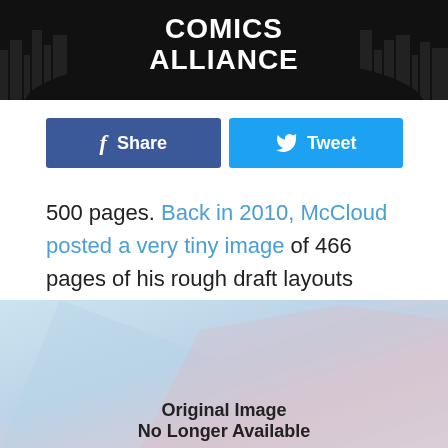Comics Alliance
Share   Tweet
500 pages. Back in 2010, McCloud posted a very tiny image of 466 pages of his rough draft layouts from the project, noting its working title at the time was The Sculptor. It seems he's sticking to it.
[Figure (photo): Original Image No Longer Available placeholder image with light blue and pink tones]